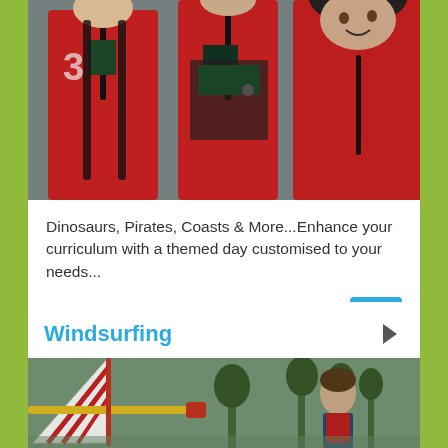[Figure (photo): Children wearing red sailing/water sports jackets and life vests, grouped together, photo taken from close up]
Dinosaurs, Pirates, Coasts & More...Enhance your curriculum with a themed day customised to your needs...
[Figure (logo): Blue logo with stylized figure, available at logo]
Windsurfing
[Figure (photo): Windsurfing equipment - colorful sail with yellow and red booms, person visible in background]